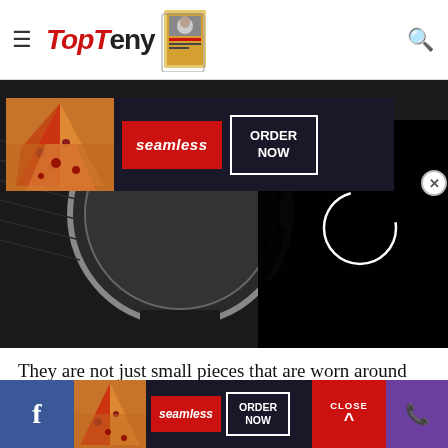TopTeny — navigation header with hamburger menu, logo, magazine image, search icon
[Figure (screenshot): Hero image of a close-up luxury wristwatch with black leather strap and silver case, overlaid with a Seamless food delivery advertisement banner showing pizza and ORDER NOW button]
They are not just small pieces that are worn around the wrist to tell us time, but they are also elegant pieces
[Figure (screenshot): Bottom sticky advertisement bar for Seamless food delivery with pizza image, seamless logo, ORDER NOW button, Facebook button, CLOSE button, and phone button]